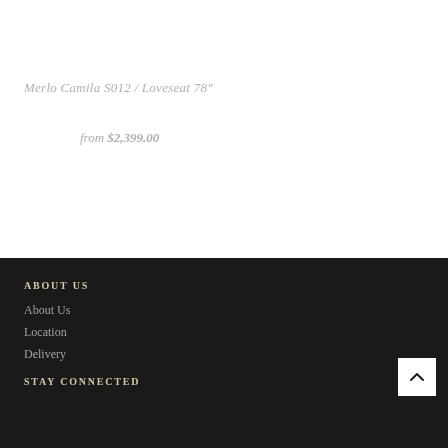Merlo Camila S012 / Loveseat 78"
from $2,399.00
ABOUT US
About Us
Location
Delivery
STAY CONNECTED